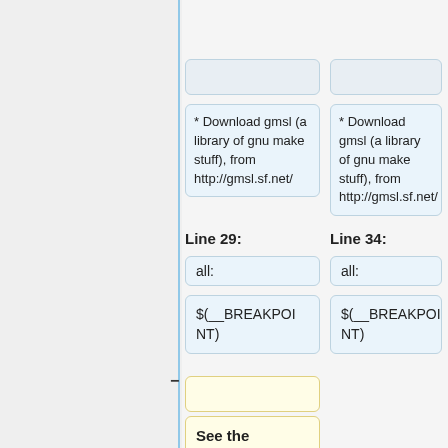The following resources are needed to use the debugger:
* Download gmsl (a library of gnu make stuff), from http://gmsl.sf.net/
* Download gmsl (a library of gnu make stuff), from http://gmsl.sf.net/
Line 29:
Line 34:
all:
all:
$(__BREAKPOINT)
$(__BREAKPOINT)
See the following